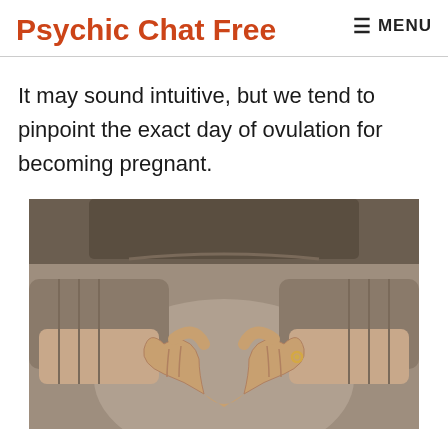Psychic Chat Free
It may sound intuitive, but we tend to pinpoint the exact day of ovulation for becoming pregnant.
[Figure (photo): Close-up photo of a pregnant woman in a grey knit sweater forming a heart shape with her hands over her belly. She is wearing a ring on her right hand.]